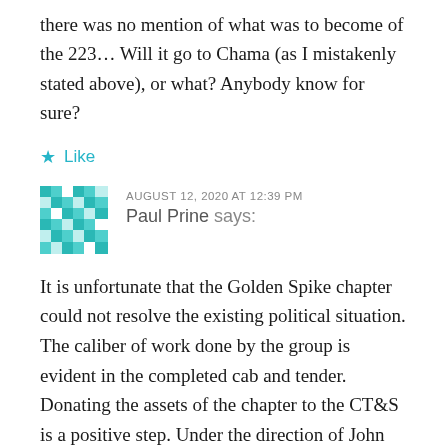there was no mention of what was to become of the 223… Will it go to Chama (as I mistakenly stated above), or what? Anybody know for sure?
★ Like
AUGUST 12, 2020 AT 12:39 PM
Paul Prine says:
It is unfortunate that the Golden Spike chapter could not resolve the existing political situation. The caliber of work done by the group is evident in the completed cab and tender. Donating the assets of the chapter to the CT&S is a positive step. Under the direction of John Bush, we should see 223 joining their operational stable of historic NG steam. 👍